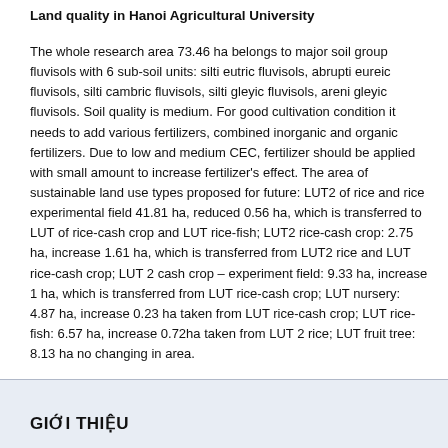Land quality in Hanoi Agricultural University
The whole research area 73.46 ha belongs to major soil group fluvisols with 6 sub-soil units: silti eutric fluvisols, abrupti eureic fluvisols, silti cambric fluvisols, silti gleyic fluvisols, areni gleyic fluvisols. Soil quality is medium. For good cultivation condition it needs to add various fertilizers, combined inorganic and organic fertilizers. Due to low and medium CEC, fertilizer should be applied with small amount to increase fertilizer's effect. The area of sustainable land use types proposed for future: LUT2 of rice and rice experimental field 41.81 ha, reduced 0.56 ha, which is transferred to LUT of rice-cash crop and LUT rice-fish; LUT2 rice-cash crop: 2.75 ha, increase 1.61 ha, which is transferred from LUT2 rice and LUT rice-cash crop; LUT 2 cash crop – experiment field: 9.33 ha, increase 1 ha, which is transferred from LUT rice-cash crop; LUT nursery: 4.87 ha, increase 0.23 ha taken from LUT rice-cash crop; LUT rice-fish: 6.57 ha, increase 0.72ha taken from LUT 2 rice; LUT fruit tree: 8.13 ha no changing in area.
GIỚI THIỆU